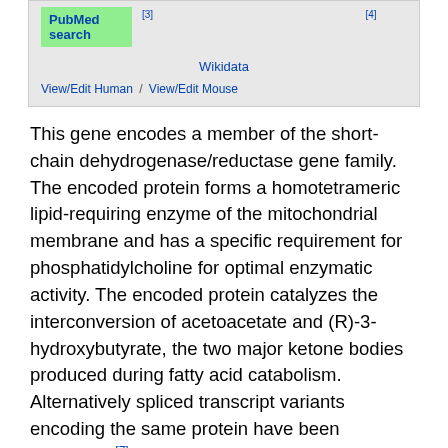| PubMed search | [3] |  | [4] |
|  | Wikidata |  |  |
| View/Edit Human / View/Edit Mouse |  |  |  |
This gene encodes a member of the short-chain dehydrogenase/reductase gene family. The encoded protein forms a homotetrameric lipid-requiring enzyme of the mitochondrial membrane and has a specific requirement for phosphatidylcholine for optimal enzymatic activity. The encoded protein catalyzes the interconversion of acetoacetate and (R)-3-hydroxybutyrate, the two major ketone bodies produced during fatty acid catabolism. Alternatively spliced transcript variants encoding the same protein have been described.[7]